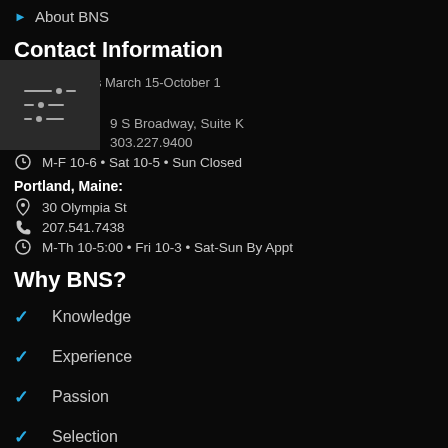About BNS
Contact Information
Summer Hours March 15-October 1
Boulder, CO:
9 S Broadway, Suite K
303.227.9400
M-F 10-6 • Sat 10-5 • Sun Closed
Portland, Maine:
30 Olympia St
207.541.7438
M-Th 10-5:00 • Fri 10-3 • Sat-Sun By Appt
Why BNS?
Knowledge
Experience
Passion
Selection
Best Prices